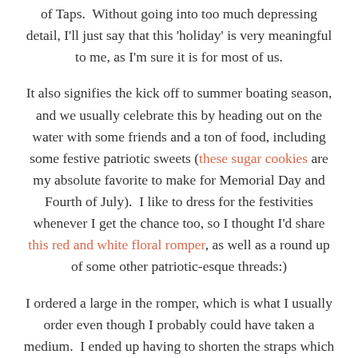of Taps.  Without going into too much depressing detail, I'll just say that this 'holiday' is very meaningful to me, as I'm sure it is for most of us.
It also signifies the kick off to summer boating season, and we usually celebrate this by heading out on the water with some friends and a ton of food, including some festive patriotic sweets (these sugar cookies are my absolute favorite to make for Memorial Day and Fourth of July).  I like to dress for the festivities whenever I get the chance too, so I thought I'd share this red and white floral romper, as well as a round up of some other patriotic-esque threads:)
I ordered a large in the romper, which is what I usually order even though I probably could have taken a medium.  I ended up having to shorten the straps which was an easy fix.  The straps are adjustable, but I wanted the front a bit more cinched up so I wasn't spilling out of it (you can't wear a bra with this one).  The bottom flares out by